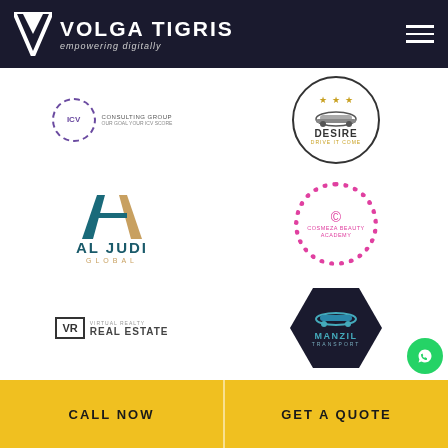VOLGA TIGRIS — empowering digitally
[Figure (logo): ICV Consulting Group logo — circular emblem with ICV text and consulting group label]
[Figure (logo): Desire — car rental logo with circular border, car silhouette and stars]
[Figure (logo): Al Judi Global — triangular A logo in teal/gold with company name]
[Figure (logo): Cosmeza Beauty Academy — pink dotted circle logo]
[Figure (logo): VR Real Estate logo]
[Figure (logo): Manzil Transport — dark hexagonal logo with car icon and teal text]
[Figure (logo): WhatsApp green circle icon]
CALL NOW
GET A QUOTE